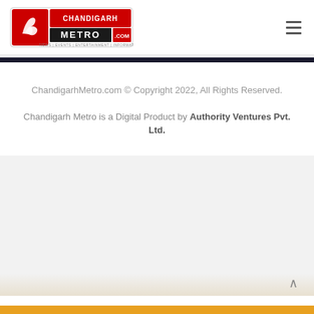[Figure (logo): ChandigarhMetro.com logo with red bird and text]
ChandigarhMetro.com © Copyright 2022, All Rights Reserved.
Chandigarh Metro is a Digital Product by Authority Ventures Pvt. Ltd.